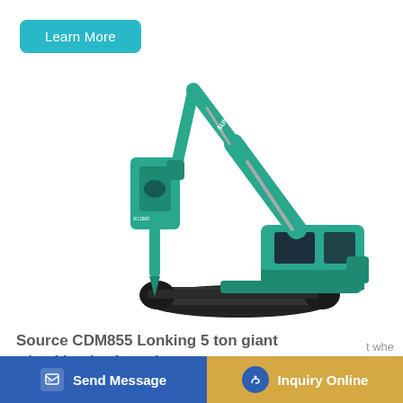Learn More
[Figure (photo): Green SUNWARD hydraulic excavator with breaker attachment on tracked undercarriage, shown on white background]
Source CDM855 Lonking 5 ton giant wheel loader for sale
Send Message
Inquiry Online